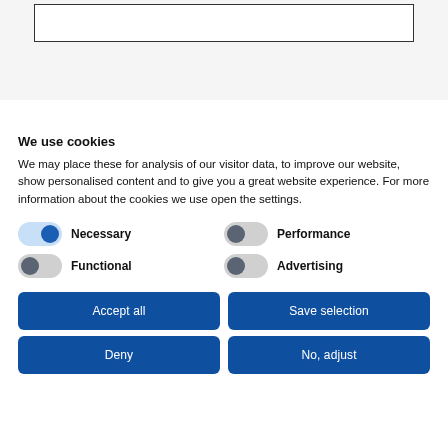[Figure (screenshot): Input/search box with border at the top of the page on a light gray background]
Privacy policy
We use cookies
We may place these for analysis of our visitor data, to improve our website, show personalised content and to give you a great website experience. For more information about the cookies we use open the settings.
Necessary
Performance
Functional
Advertising
Accept all
Save selection
Deny
No, adjust